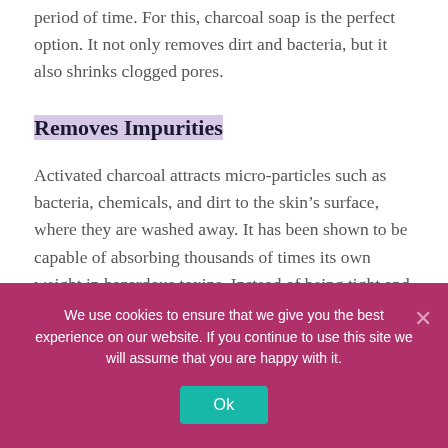period of time. For this, charcoal soap is the perfect option. It not only removes dirt and bacteria, but it also shrinks clogged pores.
Removes Impurities
Activated charcoal attracts micro-particles such as bacteria, chemicals, and dirt to the skin’s surface, where they are washed away. It has been shown to be capable of absorbing thousands of times its own weight in hazardous toxins. Instead of being tight and dry, your skin feels soft and supple.
We use cookies to ensure that we give you the best experience on our website. If you continue to use this site we will assume that you are happy with it.